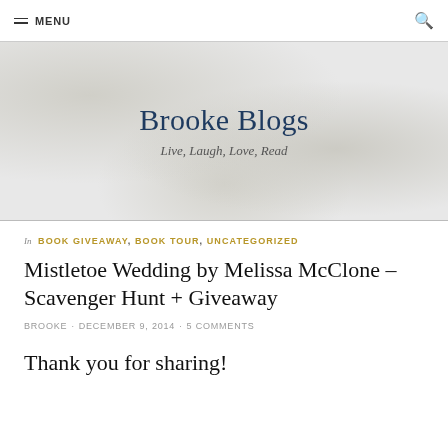≡ MENU  🔍
Brooke Blogs
Live, Laugh, Love, Read
In BOOK GIVEAWAY, BOOK TOUR, UNCATEGORIZED
Mistletoe Wedding by Melissa McClone – Scavenger Hunt + Giveaway
BROOKE · DECEMBER 9, 2014 · 5 COMMENTS
Thank you for sharing!